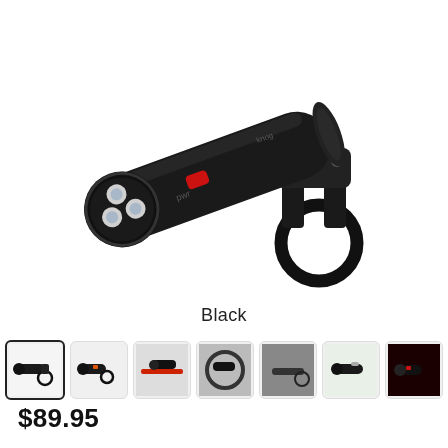[Figure (photo): Black bicycle headlight/front lamp with three LED lenses and a red button on the side, mounted on a handlebar clamp bracket. The light is cylindrical and matte black with a round handlebar mount clamp.]
Black
[Figure (photo): Row of 7 product thumbnail images showing the bike light from various angles and in use.]
$89.95